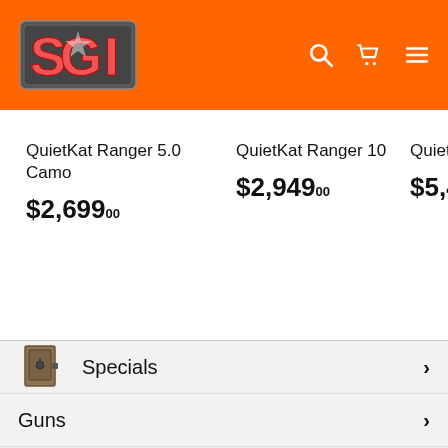[Figure (logo): SGI (Sportsman's Corner) logo in orange header with grey metallic text and compass/star emblem]
QuietKat Ranger 5.0 Camo
$2,699.00
QuietKat Ranger 10
$2,949.00
QuietKat
$5,499
Specials
Guns
Safes
Traeger Grills